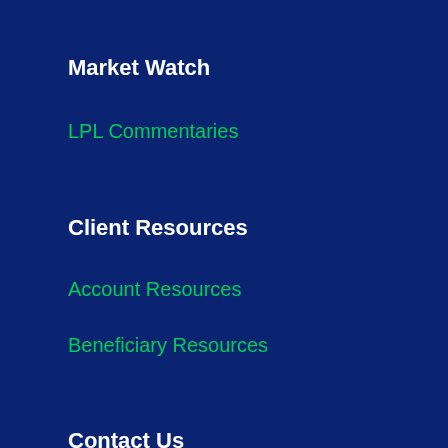Market Watch
LPL Commentaries
Client Resources
Account Resources
Beneficiary Resources
Contact Us
Appointment Sign-up
Customer Service Contacts